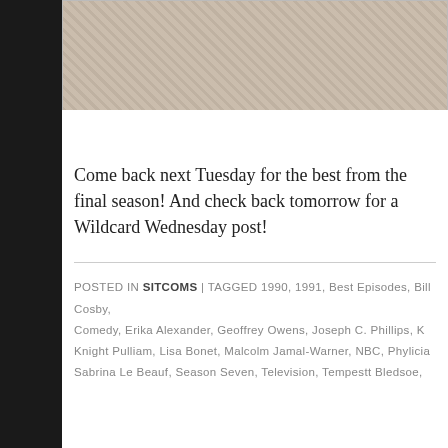[Figure (photo): Partial photo showing a sepia/grayscale image with checkered or houndstooth pattern fabric visible, top portion of page]
Come back next Tuesday for the best from the final season! And check back tomorrow for a Wildcard Wednesday post!
POSTED IN SITCOMS | TAGGED 1990, 1991, BEST EPISODES, BILL COSBY, COMEDY, ERIKA ALEXANDER, GEOFFREY OWENS, JOSEPH C. PHILLIPS, KNIGHT PULLIAM, LISA BONET, MALCOLM JAMAL-WARNER, NBC, PHYLICIA SABRINA LE BEAUF, SEASON SEVEN, TELEVISION, TEMPESTT BLEDSOE,